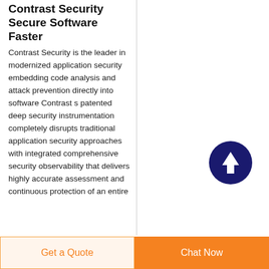Contrast Security Secure Software Faster
Contrast Security is the leader in modernized application security embedding code analysis and attack prevention directly into software Contrast s patented deep security instrumentation completely disrupts traditional application security approaches with integrated comprehensive security observability that delivers highly accurate assessment and continuous protection of an entire
[Figure (illustration): Dark navy blue circular button with a white upward arrow icon in the center]
Get a Quote
Chat Now